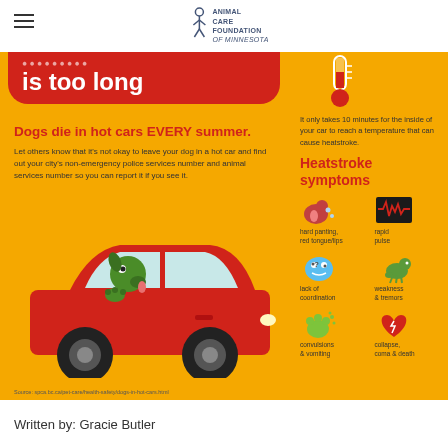Animal Care Foundation of Minnesota
[Figure (infographic): Infographic on orange/yellow background warning about dogs dying in hot cars. Left side has a red banner saying 'is too long', headline 'Dogs die in hot cars EVERY summer.', body text about reporting, and illustration of a dog in a red car. Right side shows a thermometer icon, text about 10 minutes for heatstroke, and a grid of 6 heatstroke symptoms with icons: hard panting/red tongue/lips, rapid pulse, lack of coordination, weakness & tremors, convulsions & vomiting, collapse coma & death. Source: spca.bc.ca/pet-care/health-safety/dogs-in-hot-cars.html]
Written by: Gracie Butler